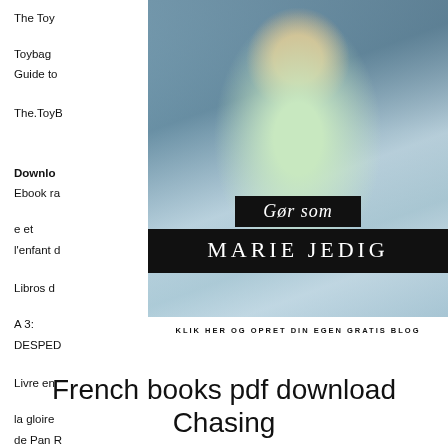The Toy... Toybag Guide to... The.ToyB... Download... Ebook ra... e et l'enfant d... Libros d... A 3: DESPED... Livre en... la gloire de Pan R... Download... glish version s...
[Figure (photo): Advertisement banner featuring a young blonde woman wearing a mint green knitted sweater, standing in front of a train/metro. Overlaid text reads 'Gør som' in italic serif on black background, 'MARIE JEDIG' in large serif letters on black background, and 'KLIK HER OG OPRET DIN EGEN GRATIS BLOG' in a white banner.]
French books pdf download Chasing